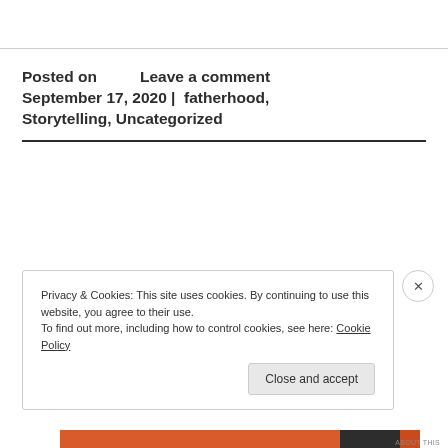Posted on September 17, 2020 | Leave a comment fatherhood, Storytelling, Uncategorized
Privacy & Cookies: This site uses cookies. By continuing to use this website, you agree to their use.
To find out more, including how to control cookies, see here: Cookie Policy
Close and accept